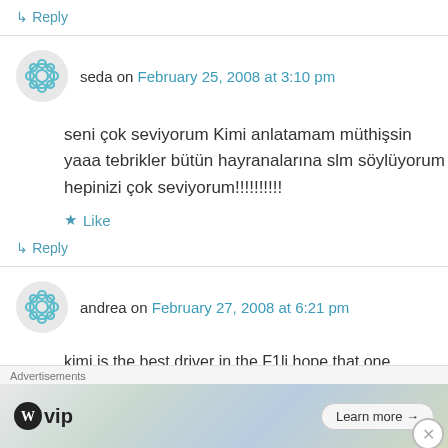↳ Reply
seda on February 25, 2008 at 3:10 pm
seni çok seviyorum Kimi anlatamam müthişsin yaaa tebrikler bütün hayranalarına slm söylüyorum hepinizi çok seviyorum!!!!!!!!!!
★ Like
↳ Reply
andrea on February 27, 2008 at 6:21 pm
kimi is the best driver in the F1li hope that one
Advertisements